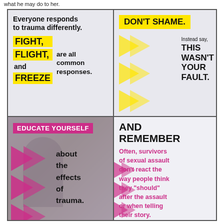what he may do to her.
[Figure (infographic): Four-quadrant infographic about trauma responses and sexual assault. Top-left: 'Everyone responds to trauma differently. FIGHT, FLIGHT, and FREEZE are all common responses.' Top-right: 'DON'T SHAME. Instead say, THIS WASN'T YOUR FAULT.' Bottom-left: 'EDUCATE YOURSELF about the effects of trauma.' (with person silhouette and pink arrows). Bottom-right: 'AND REMEMBER Often, survivors of sexual assault don't react the way people think they "should" after the assault or when telling their story.']